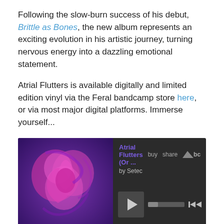Following the slow-burn success of his debut, Brittle as Bones, the new album represents an exciting evolution in his artistic journey, turning nervous energy into a dazzling emotional statement.
Atrial Flutters is available digitally and limited edition vinyl via the Feral bandcamp store here, or via most major digital platforms. Immerse yourself...
[Figure (screenshot): Bandcamp music player widget for 'Atrial Flutters (Or ...' by Setec, showing album art (purple/pink abstract heart), play button, progress bar, skip controls, and tracklist with: 1. Wasted Parted 02:34, 2. To Hide In 00:00/03:10 (active), 3. Cotton Bones 03:44]